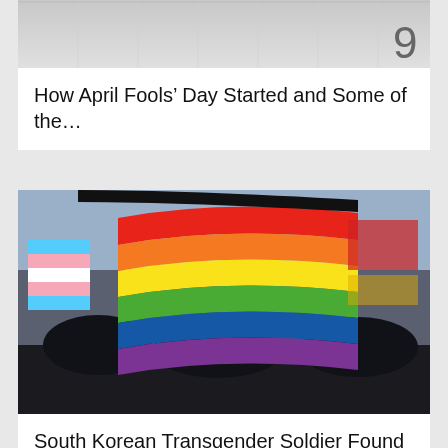[Figure (photo): Partial view of a calendar showing the number 9, gray background]
How April Fools' Day Started and Some of the...
[Figure (photo): People holding a large rainbow pride flag at a street event, with a transgender pride flag visible on the left]
South Korean Transgender Soldier Found Dead Sparks Anger